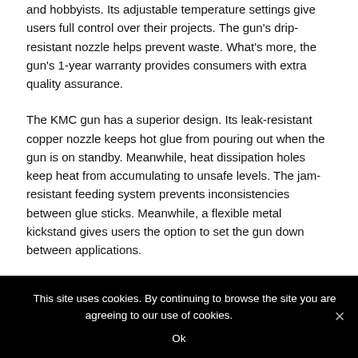and hobbyists. Its adjustable temperature settings give users full control over their projects. The gun's drip-resistant nozzle helps prevent waste. What's more, the gun's 1-year warranty provides consumers with extra quality assurance.
The KMC gun has a superior design. Its leak-resistant copper nozzle keeps hot glue from pouring out when the gun is on standby. Meanwhile, heat dissipation holes keep heat from accumulating to unsafe levels. The jam-resistant feeding system prevents inconsistencies between glue sticks. Meanwhile, a flexible metal kickstand gives users the option to set the gun down between applications.
The KMC is one of the most popular brands, compatible with 5/16...
This site uses cookies. By continuing to browse the site you are agreeing to our use of cookies.
Ok